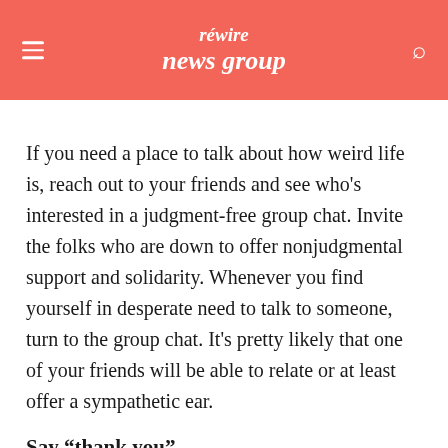rewire news group
If you need a place to talk about how weird life is, reach out to your friends and see who’s interested in a judgment-free group chat. Invite the folks who are down to offer nonjudgmental support and solidarity. Whenever you find yourself in desperate need to talk to someone, turn to the group chat. It’s pretty likely that one of your friends will be able to relate or at least offer a sympathetic ear.
Say “thank you”
Offering your appreciation for someone can help you feel more connected to them. Plus, hearing “thank you” allows the recipient to felt seen. If you have a friend who